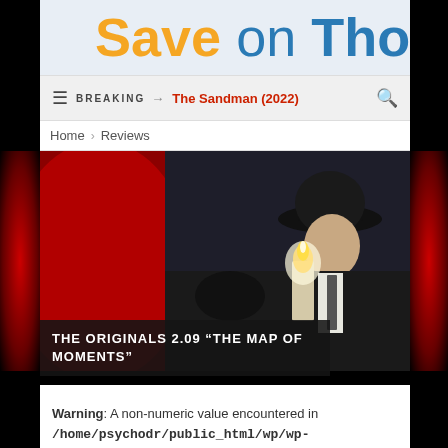Save on Thousan
BREAKING → The Sandman (2022)
Home > Reviews
[Figure (photo): Man in black hat and suit holding a glowing candle, dark dramatic scene with red-tinted background and dark atmospheric setting]
THE ORIGINALS 2.09 “THE MAP OF MOMENTS”
Warning: A non-numeric value encountered in /home/psychodr/public_html/wp/wp-